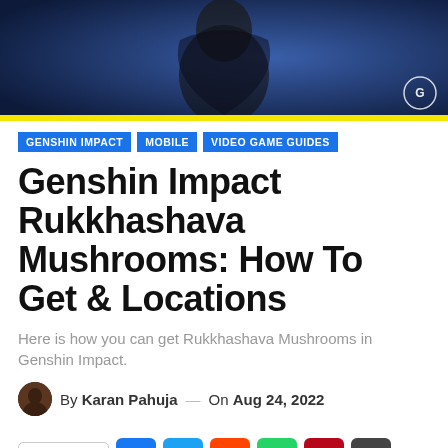[Figure (photo): Hero banner image showing a dark-clothed game character from Genshin Impact with a logo watermark in the bottom right corner]
GENSHIN IMPACT
MOBILE
VIDEO GAME GUIDES
Genshin Impact Rukkhashava Mushrooms: How To Get & Locations
Here is how you can get Rukkhashava Mushrooms in Genshin Impact.
By Karan Pahuja — On Aug 24, 2022
Share